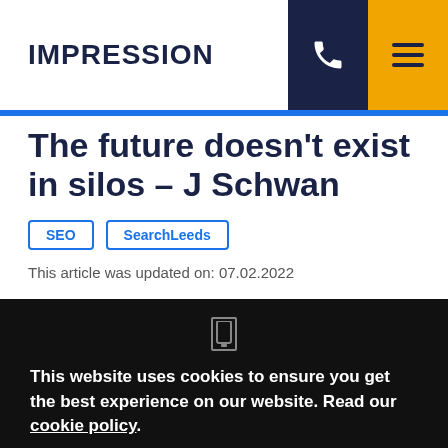IMPRESSION
The future doesn't exist in silos – J Schwan
SEO
SearchLeeds
This article was updated on: 07.02.2022
This website uses cookies to ensure you get the best experience on our website. Read our cookie policy.
Yes, I accept cookies